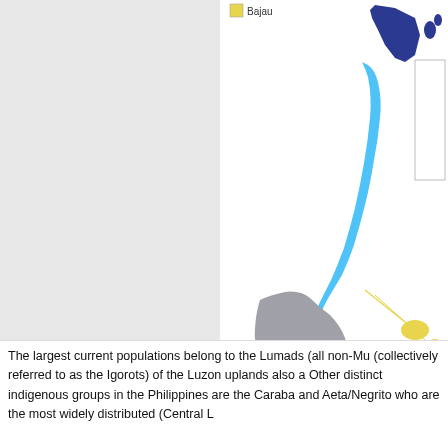[Figure (map): Partial map showing indigenous peoples' territories in the Philippines. The upper right shows a dark navy blue region (top right corner), a large cyan/light blue elongated island shape in the center-right (likely Palawan), a gray landmass in the lower center-right, and scattered yellow areas at bottom right. The left half shows a textured light gray background. A legend at the top shows a yellow square labeled 'Bajau'.]
(Wikimedia
The largest current populations belong to the Lumads (all non-Mu (collectively referred to as the Igorots) of the Luzon uplands also a Other distinct indigenous groups in the Philippines are the Caraba and Aeta/Negrito who are the most widely distributed (Central L